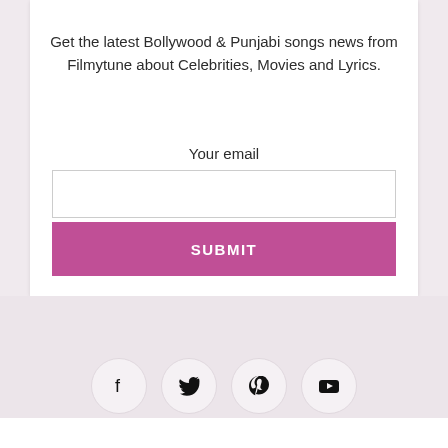Get the latest Bollywood & Punjabi songs news from Filmytune about Celebrities, Movies and Lyrics.
Your email
[Figure (screenshot): Email input field and SUBMIT button on a newsletter signup form]
[Figure (infographic): Row of four social media icon circles: Facebook, Twitter, Pinterest, YouTube]